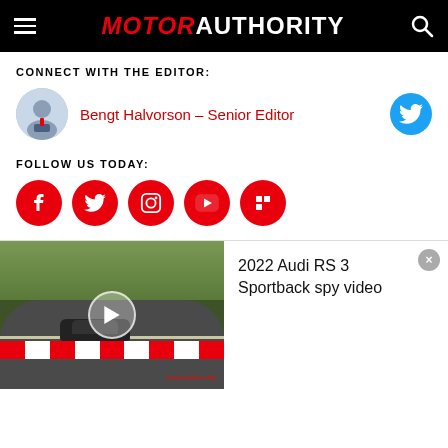MOTOR AUTHORITY
CONNECT WITH THE EDITOR:
Bengt Halvorson – Senior Editor
FOLLOW US TODAY:
[Figure (screenshot): Social media icons: Facebook, Twitter, Instagram, YouTube, Flipboard]
[Figure (screenshot): Video thumbnail of 2022 Audi RS 3 Sportback spy video at Nürburgring race track with play button overlay]
2022 Audi RS 3 Sportback spy video